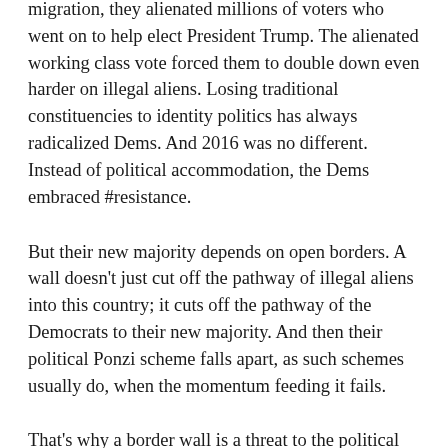migration, they alienated millions of voters who went on to help elect President Trump. The alienated working class vote forced them to double down even harder on illegal aliens. Losing traditional constituencies to identity politics has always radicalized Dems. And 2016 was no different. Instead of political accommodation, the Dems embraced #resistance.
But their new majority depends on open borders. A wall doesn't just cut off the pathway of illegal aliens into this country; it cuts off the pathway of the Democrats to their new majority. And then their political Ponzi scheme falls apart, as such schemes usually do, when the momentum feeding it fails.
That's why a border wall is a threat to the political survival of the Democrats. And it's why they will do